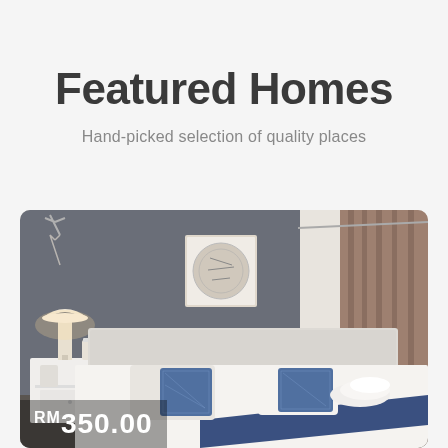Featured Homes
Hand-picked selection of quality places
[Figure (photo): Bedroom photo showing a neatly made double bed with white and blue pillows, blue throw blanket, white bedside table with lamp, grey accent wall with framed artwork, and brown curtains on the right]
RM350.00